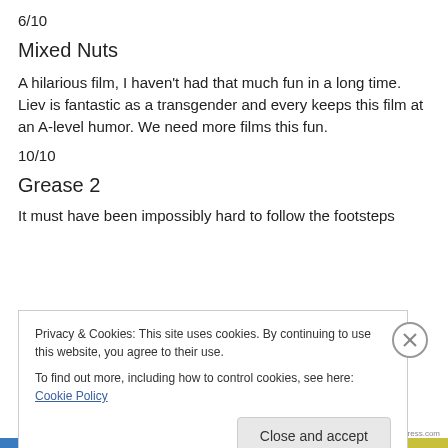6/10
Mixed Nuts
A hilarious film, I haven't had that much fun in a long time. Liev is fantastic as a transgender and every keeps this film at an A-level humor. We need more films this fun.
10/10
Grease 2
It must have been impossibly hard to follow the footsteps
Privacy & Cookies: This site uses cookies. By continuing to use this website, you agree to their use.
To find out more, including how to control cookies, see here: Cookie Policy
Close and accept